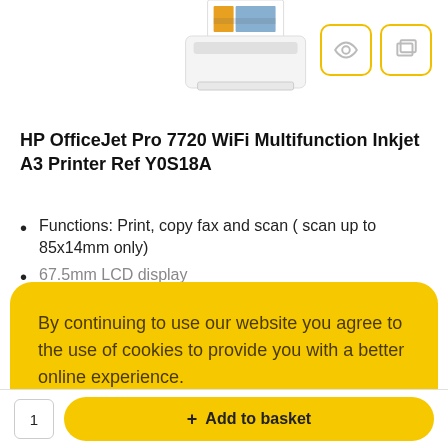[Figure (photo): HP OfficeJet Pro 7720 printer photograph shown at the top of the page, partially cropped]
HP OfficeJet Pro 7720 WiFi Multifunction Inkjet A3 Printer Ref Y0S18A
Functions: Print, copy fax and scan ( scan up to 85x14mm only)
67.5mm LCD display
By continuing to use our website you agree to the use of cookies to provide you with a better online experience. Learn More
Got it!
+ Add to basket